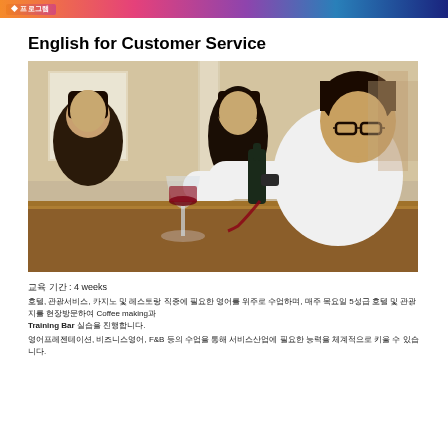프로그램
English for Customer Service
[Figure (photo): A young woman in a white dress shirt and glasses pours red wine into a glass at a bar counter, with two other women in the background in a hospitality/restaurant setting.]
교육 기간 : 4 weeks
호텔, 관광서비스, 카지노 및 레스토랑 직종에 필요한 영어를 위주로 수업하며, 매주 목요일 5성급 호텔 및 관광지를 현장방문하여 Coffee making과 Training Bar 실습을 진행합니다.
영어프레젠테이션, 비즈니스영어, F&B 등의 수업을 통해 서비스산업에 필요한 능력을 체계적으로 키울 수 있습니다.